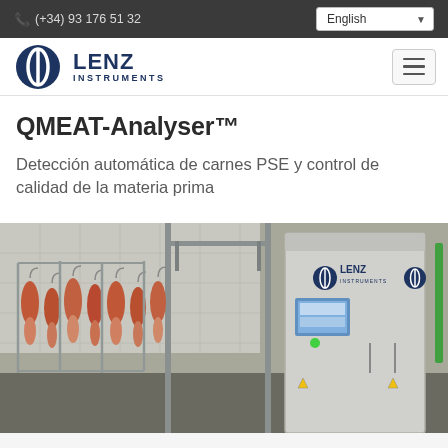(+34) 93 176 51 32 | English
[Figure (logo): Lenz Instruments logo with circular icon and hamburger menu]
QMEAT-Analyser™
Detección automática de carnes PSE y control de calidad de la materia prima
[Figure (photo): Industrial meat processing facility showing hanging poultry on racks and Lenz Instruments QMEAT-Analyser machine]